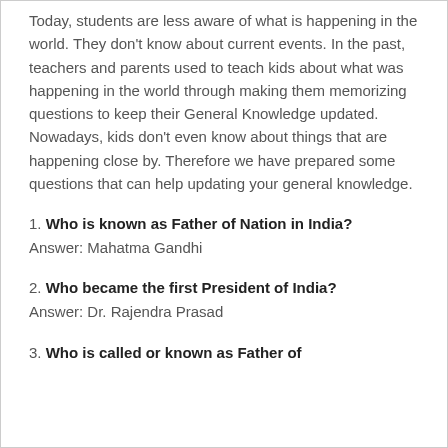Today, students are less aware of what is happening in the world. They don't know about current events. In the past, teachers and parents used to teach kids about what was happening in the world through making them memorizing questions to keep their General Knowledge updated. Nowadays, kids don't even know about things that are happening close by. Therefore we have prepared some questions that can help updating your general knowledge.
1. Who is known as Father of Nation in India?
Answer: Mahatma Gandhi
2. Who became the first President of India?
Answer: Dr. Rajendra Prasad
3. Who is called or known as Father of...